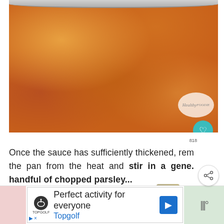[Figure (photo): A pan of chicken cacciatore with tomato sauce, mushrooms, olives, and chopped parsley, with a Healthy logo watermark and a teal heart button overlay]
Once the sauce has sufficiently thickened, remove the pan from the heat and stir in a generous handful of chopped parsley...
[Figure (photo): Pork Tenderloin thumbnail image for 'What's Next' recommendation]
WHAT'S NEXT → Pork Tenderloin i...
[Figure (other): Topgolf advertisement banner: Perfect activity for everyone, Topgolf]